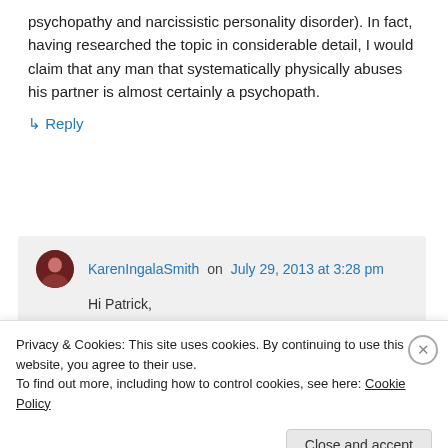psychopathy and narcissistic personality disorder). In fact, having researched the topic in considerable detail, I would claim that any man that systematically physically abuses his partner is almost certainly a psychopath.
↳ Reply
KarenIngalaSmith on July 29, 2013 at 3:28 pm
Hi Patrick,
Privacy & Cookies: This site uses cookies. By continuing to use this website, you agree to their use.
To find out more, including how to control cookies, see here: Cookie Policy
Close and accept